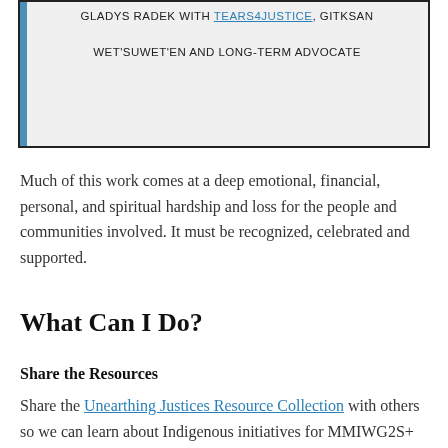GLADYS RADEK WITH TEARS4JUSTICE, GITKSAN WET'SUWET'EN AND LONG-TERM ADVOCATE
Much of this work comes at a deep emotional, financial, personal, and spiritual hardship and loss for the people and communities involved. It must be recognized, celebrated and supported.
What Can I Do?
Share the Resources
Share the Unearthing Justices Resource Collection with others so we can learn about Indigenous initiatives for MMIWG2S+ and support and grow community resources and creative